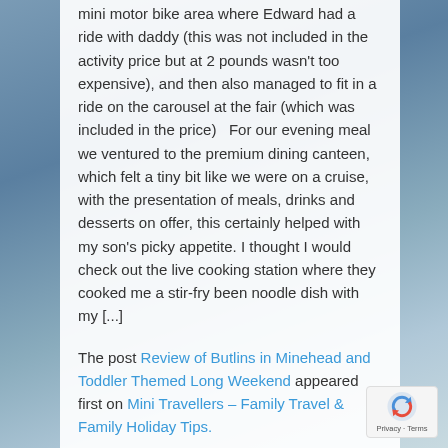mini motor bike area where Edward had a ride with daddy (this was not included in the activity price but at 2 pounds wasn't too expensive), and then also managed to fit in a ride on the carousel at the fair (which was included in the price)   For our evening meal we ventured to the premium dining canteen, which felt a tiny bit like we were on a cruise, with the presentation of meals, drinks and desserts on offer, this certainly helped with my son's picky appetite. I thought I would check out the live cooking station where they cooked me a stir-fry been noodle dish with my [...]
The post Review of Butlins in Minehead and Toddler Themed Long Weekend appeared first on Mini Travellers – Family Travel & Family Holiday Tips.